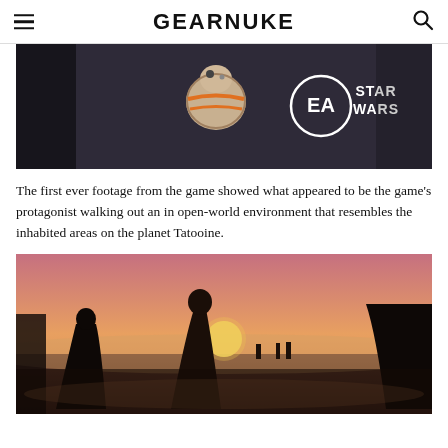GEARNUKE
[Figure (photo): Screenshot from EA Star Wars game showing BB-8 droid with EA and Star Wars logos on the right side]
The first ever footage from the game showed what appeared to be the game's protagonist walking out an in open-world environment that resembles the inhabited areas on the planet Tatooine.
[Figure (photo): Concept art or in-game screenshot showing figures in long coats/cloaks standing in a desert landscape with a sunset in the background, resembling the planet Tatooine from Star Wars]